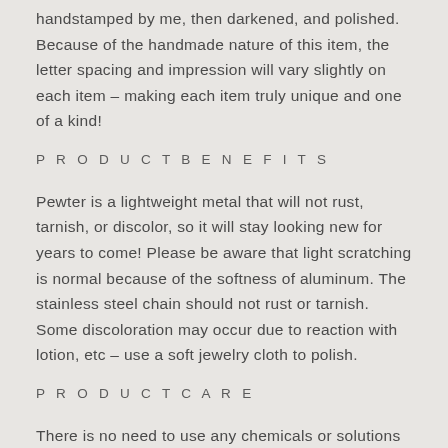handstamped by me, then darkened, and polished. Because of the handmade nature of this item, the letter spacing and impression will vary slightly on each item – making each item truly unique and one of a kind!
P R O D U C T  B E N E F I T S
Pewter is a lightweight metal that will not rust, tarnish, or discolor, so it will stay looking new for years to come! Please be aware that light scratching is normal because of the softness of aluminum. The stainless steel chain should not rust or tarnish. Some discoloration may occur due to reaction with lotion, etc – use a soft jewelry cloth to polish.
P R O D U C T  C A R E
There is no need to use any chemicals or solutions to clean your item, you can simply use a jewelry cloth or pro